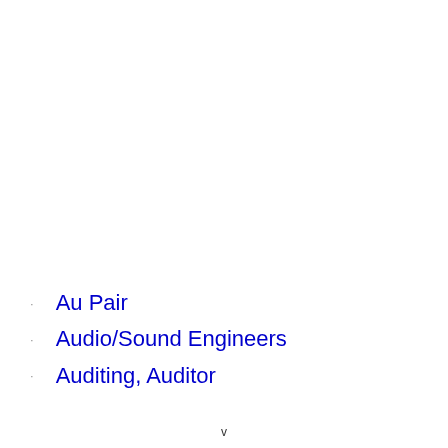Au Pair
Audio/Sound Engineers
Auditing, Auditor
v